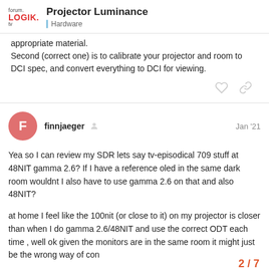forum.LOGIK.tv | Projector Luminance | Hardware
appropriate material.
Second (correct one) is to calibrate your projector and room to DCI spec, and convert everything to DCI for viewing.
finnjaeger  Jan '21
Yea so I can review my SDR lets say tv-episodical 709 stuff at 48NIT gamma 2.6? If I have a reference oled in the same dark room wouldnt I also have to use gamma 2.6 on that and also 48NIT?
at home I feel like the 100nit (or close to it) on my projector is closer than when I do gamma 2.6/48NIT and use the correct ODT each time , well ok given the monitors are in the same room it might just be the wrong way of con
2 / 7